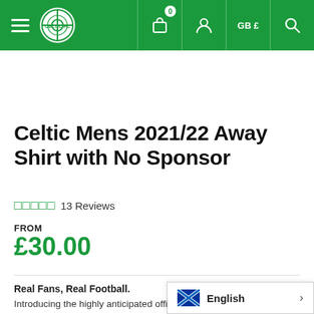Celtic FC online store navigation bar with logo, cart (0), user, GB £, and search icons
Celtic Mens 2021/22 Away Shirt with No Sponsor
13 Reviews
FROM
£30.00
Real Fans, Real Football.
Introducing the highly anticipated official Celtic FC Mens 21/22 Away shirt with no sponsor. Designed in a classic dark green colourway with high neck and b... shoulder stripes. Finished with adidas b...